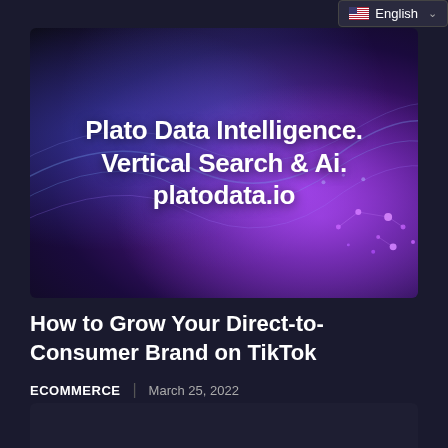English
[Figure (illustration): Plato Data Intelligence banner with dark blue and purple glowing wave/network background. White bold text reads: Plato Data Intelligence. Vertical Search & Ai. platodata.io]
How to Grow Your Direct-to-Consumer Brand on TikTok
ECOMMERCE | March 25, 2022